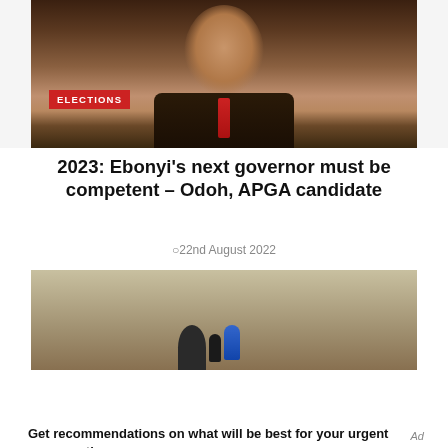[Figure (photo): Portrait photo of a man in a dark pinstripe suit with a red tie, viewed from shoulders up, with an ELECTIONS badge overlay]
ELECTIONS
2023: Ebonyi’s next governor must be competent – Odoh, APGA candidate
ȩ22nd August 2022
[Figure (photo): Photo of a person at a press conference or meeting, with microphones visible]
[Figure (other): Advertisement banner with green CONTACT US button and ad controls]
Get recommendations on what will be best for your urgent care practice.
Ad